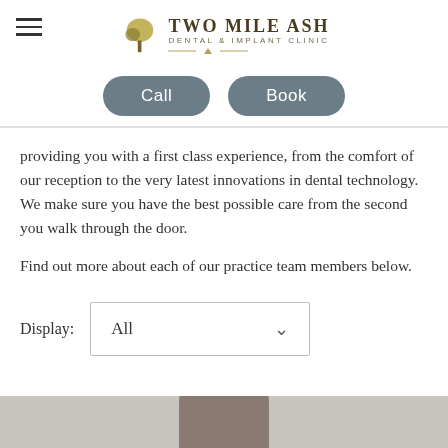Two Mile Ash Dental & Implant Clinic
providing you with a first class experience, from the comfort of our reception to the very latest innovations in dental technology. We make sure you have the best possible care from the second you walk through the door.

Find out more about each of our practice team members below.
Display: All
[Figure (photo): Partial view of a person's head/hair appearing at the bottom of the page, cropped]